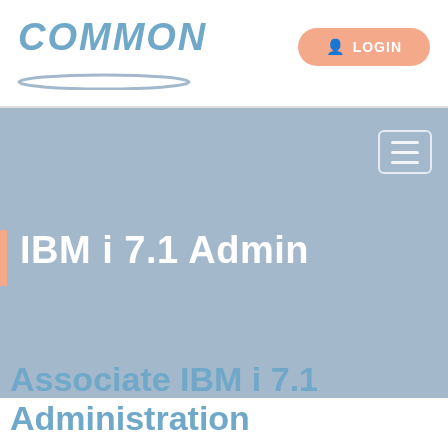COMMON
LOGIN
IBM i 7.1 Admin
Associate IBM i 7.1 Administration